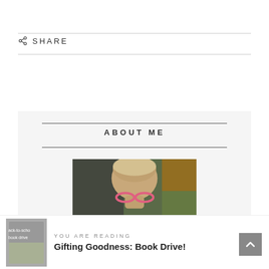SHARE
ABOUT ME
[Figure (photo): Photo of a child's head from above, wearing pink novelty glasses, blurred background with green and orange tones]
YOU ARE READING
Gifting Goodness: Book Drive!